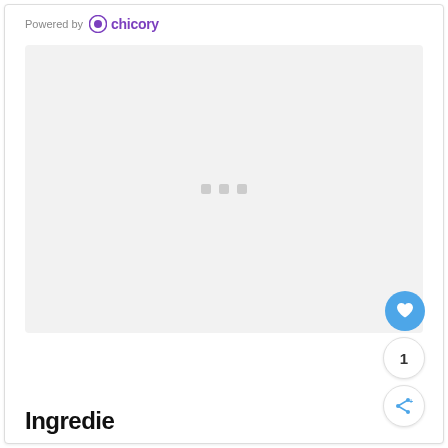Powered by chicory
[Figure (screenshot): Loading placeholder area with light gray background and three small gray square dots in the center indicating a loading state]
[Figure (other): Blue circular favorite/heart button, count badge showing '1', and share button with plus icon, stacked vertically on the right side]
Ingredients